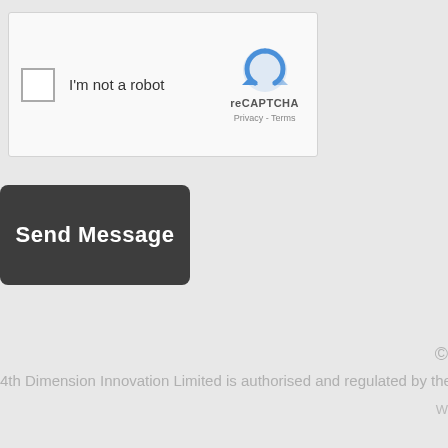[Figure (screenshot): reCAPTCHA widget with checkbox labeled 'I'm not a robot' and the reCAPTCHA logo with Privacy and Terms links]
Send Message
©
4th Dimension Innovation Limited is authorised and regulated by the
W